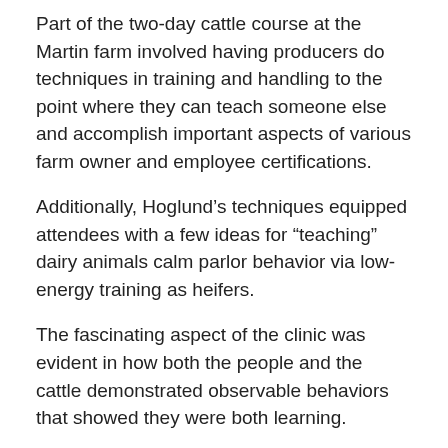Part of the two-day cattle course at the Martin farm involved having producers do techniques in training and handling to the point where they can teach someone else and accomplish important aspects of various farm owner and employee certifications.
Additionally, Hoglund's techniques equipped attendees with a few ideas for “teaching” dairy animals calm parlor behavior via low-energy training as heifers.
The fascinating aspect of the clinic was evident in how both the people and the cattle demonstrated observable behaviors that showed they were both learning.
“We are seeing a revolution in the neurosciences,” said Dr. Hoglund, explaining that we really don’t know why animals run...